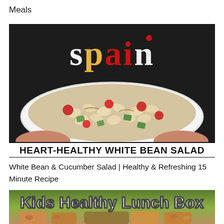Meals
[Figure (photo): Person in a Spain t-shirt holding a large white plate of Heart-Healthy White Bean Salad with white beans, tomatoes, cucumbers, and onions. Text overlay at bottom reads HEART-HEALTHY WHITE BEAN SALAD.]
White Bean & Cucumber Salad | Healthy & Refreshing 15 Minute Recipe
[Figure (photo): Kids Healthy Lunch Box thumbnail showing text 'Kids Healthy Lunch Box' over an image of lunch boxes with food items.]